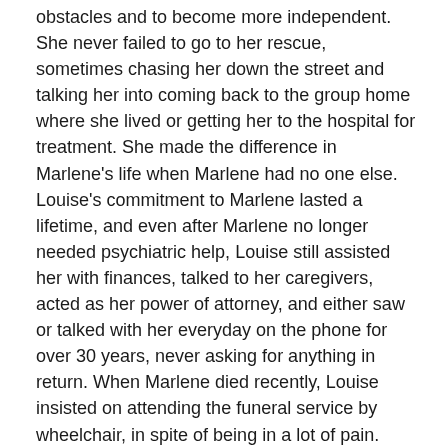obstacles and to become more independent. She never failed to go to her rescue, sometimes chasing her down the street and talking her into coming back to the group home where she lived or getting her to the hospital for treatment. She made the difference in Marlene's life when Marlene had no one else. Louise's commitment to Marlene lasted a lifetime, and even after Marlene no longer needed psychiatric help, Louise still assisted her with finances, talked to her caregivers, acted as her power of attorney, and either saw or talked with her everyday on the phone for over 30 years, never asking for anything in return. When Marlene died recently, Louise insisted on attending the funeral service by wheelchair, in spite of being in a lot of pain.
Louise courageously faced many disappointments these past 15 months as she battled breast cancer, diabetes